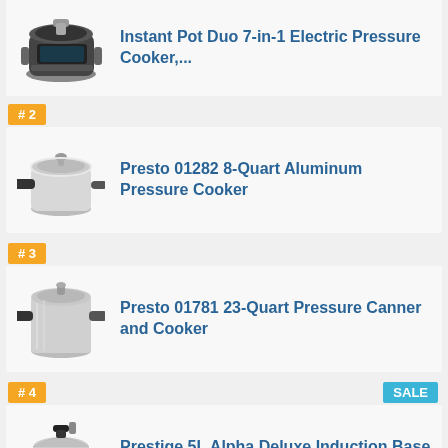[Figure (photo): Instant Pot Duo 7-in-1 Electric Pressure Cooker product image]
Instant Pot Duo 7-in-1 Electric Pressure Cooker,...
# 2
[Figure (photo): Presto 01282 8-Quart Aluminum Pressure Cooker product image]
Presto 01282 8-Quart Aluminum Pressure Cooker
# 3
[Figure (photo): Presto 01781 23-Quart Pressure Canner and Cooker product image]
Presto 01781 23-Quart Pressure Canner and Cooker
# 4
SALE
[Figure (photo): Prestige 5L Alpha Deluxe Induction Base Stainless product image]
Prestige 5L Alpha Deluxe Induction Base Stainless...
# 5
SALE